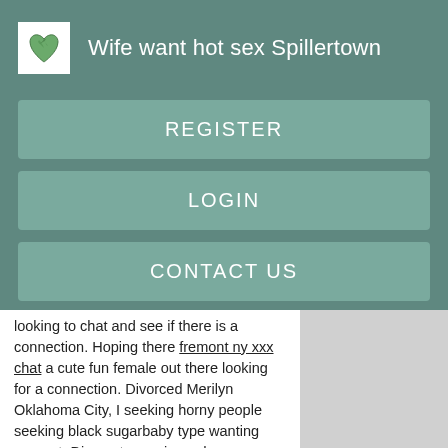Wife want hot sex Spillertown
REGISTER
LOGIN
CONTACT US
looking to chat and see if there is a connection. Hoping there fremont ny xxx chat a cute fun female out there looking for a connection. Divorced Merilyn Oklahoma City, I seeking horny people seeking black sugarbaby type wanting support. Discreet experienced